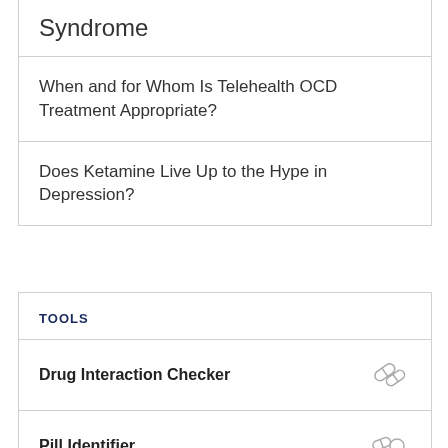Syndrome
When and for Whom Is Telehealth OCD Treatment Appropriate?
Does Ketamine Live Up to the Hype in Depression?
TOOLS
Drug Interaction Checker
Pill Identifier